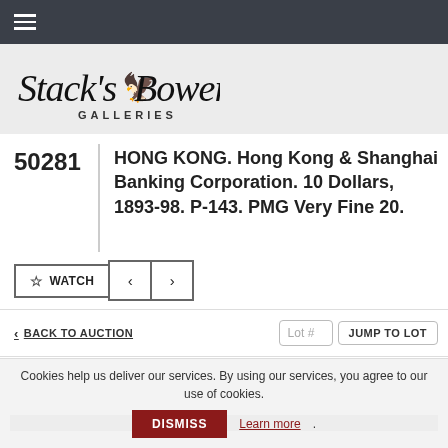Stack's Bowers Galleries – navigation bar
[Figure (logo): Stack's Bowers Galleries logo with stylized script text and red bird emblem]
50281
HONG KONG. Hong Kong & Shanghai Banking Corporation. 10 Dollars, 1893-98. P-143. PMG Very Fine 20.
☆ WATCH < >
< BACK TO AUCTION
Lot # JUMP TO LOT
[Figure (photo): Partial view of auction lot image, mostly obscured]
Cookies help us deliver our services. By using our services, you agree to our use of cookies.
DISMISS
Learn more.